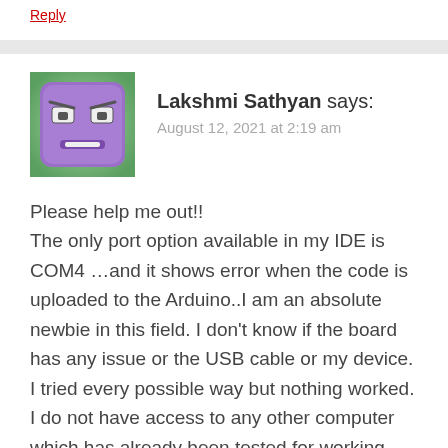Reply
[Figure (illustration): Purple cartoon avatar with angry/grumpy face expression, square shape with rounded corners, gradient green background]
Lakshmi Sathyan says:
August 12, 2021 at 2:19 am
Please help me out!! The only port option available in my IDE is COM4 ...and it shows error when the code is uploaded to the Arduino..I am an absolute newbie in this field. I don't know if the board has any issue or the USB cable or my device. I tried every possible way but nothing worked. I do not have access to any other computer which has already been tested for working with Arduino boards. Please help me out. I have freaked out now and have become clueless.